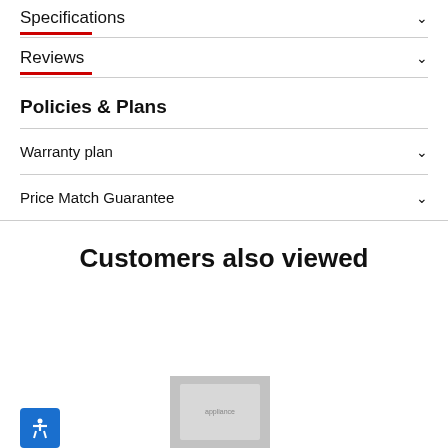Specifications
Reviews
Policies & Plans
Warranty plan
Price Match Guarantee
Customers also viewed
[Figure (photo): Product thumbnail image of an appliance shown in silver/stainless steel]